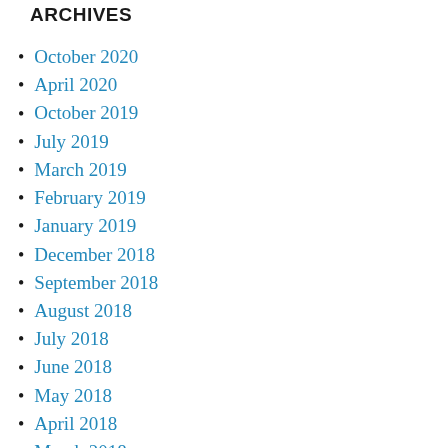ARCHIVES
October 2020
April 2020
October 2019
July 2019
March 2019
February 2019
January 2019
December 2018
September 2018
August 2018
July 2018
June 2018
May 2018
April 2018
March 2018